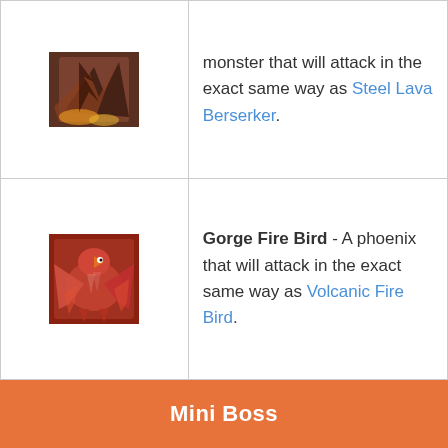| Image | Description |
| --- | --- |
| [dark bird image] | monster that will attack in the exact same way as Steel Lava Berserker. |
| [red phoenix image] | Gorge Fire Bird - A phoenix that will attack in the exact same way as Volcanic Fire Bird. |
Mini Boss